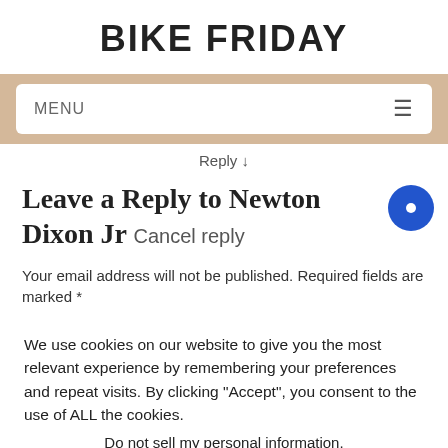BIKE FRIDAY
MENU
Reply ↓
Leave a Reply to Newton Dixon Jr Cancel reply
Your email address will not be published. Required fields are marked *
We use cookies on our website to give you the most relevant experience by remembering your preferences and repeat visits. By clicking "Accept", you consent to the use of ALL the cookies.
Do not sell my personal information.
Cookie Settings  Accept